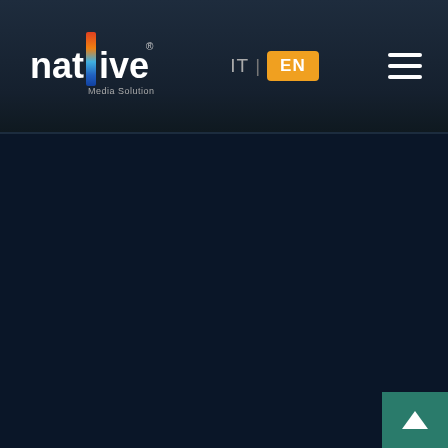natLive Media Solution — navigation bar with IT | EN language selector and hamburger menu
[Figure (logo): natLive Media Solution logo with colorful vertical bar accent beside text 'natLive' and subtitle 'Media Solution']
[Figure (screenshot): Dark navy background content area, empty main page body]